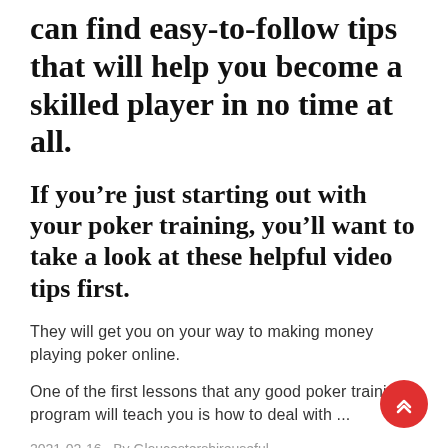can find easy-to-follow tips that will help you become a skilled player in no time at all.
If you're just starting out with your poker training, you'll want to take a look at these helpful video tips first.
They will get you on your way to making money playing poker online.
One of the first lessons that any good poker training program will teach you is how to deal with ...
2021-02-16   By Gloucestershireuseful